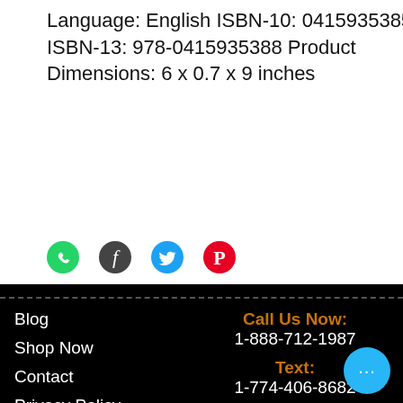Language: English ISBN-10: 0415935385 ISBN-13: 978-0415935388 Product Dimensions: 6 x 0.7 x 9 inches
[Figure (infographic): Social sharing icons: WhatsApp (green), Facebook (dark), Twitter (blue), Pinterest (red)]
Blog | Shop Now | Contact | Privacy Policy | Refund and Return Policy | Call Us Now: 1-888-712-1987 | Text: 1-774-406-8682 | © 2014-22 Freebird Publishers. Designed by Cyber Hut Designs | Sitemap